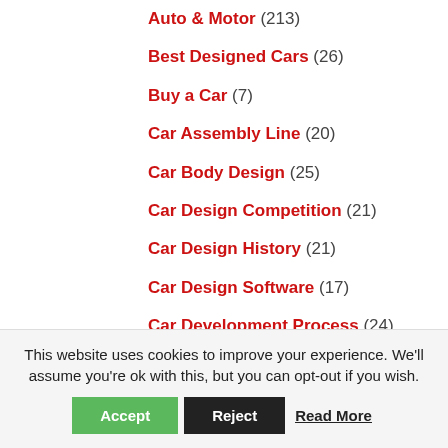Auto & Motor (213)
Best Designed Cars (26)
Buy a Car (7)
Car Assembly Line (20)
Car Body Design (25)
Car Design Competition (21)
Car Design History (21)
Car Design Software (17)
Car Development Process (24)
Car Engine Assembly (22)
This website uses cookies to improve your experience. We'll assume you're ok with this, but you can opt-out if you wish.
Accept | Reject | Read More